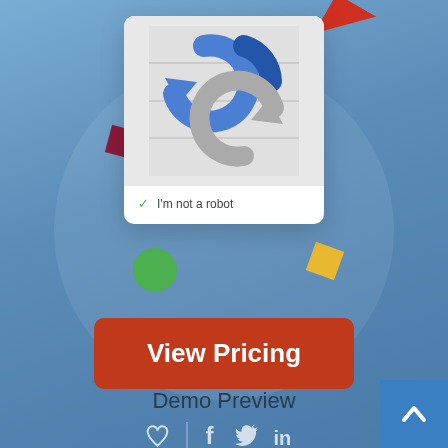[Figure (screenshot): reCAPTCHA widget showing refresh/sync arrows icon in blue and gray, with 'I'm not a robot' checkbox row checked in green]
[Figure (infographic): Colorful confetti pieces scattered around: dark red square top-left, red triangle top-right, green circle left, gold square right]
View Pricing
Demo Preview
[Figure (infographic): Social sharing icons row: heart outline, vertical divider, Facebook f, Twitter bird, LinkedIn in]
[Figure (infographic): Blue back-to-top button at bottom-right with white upward chevron]